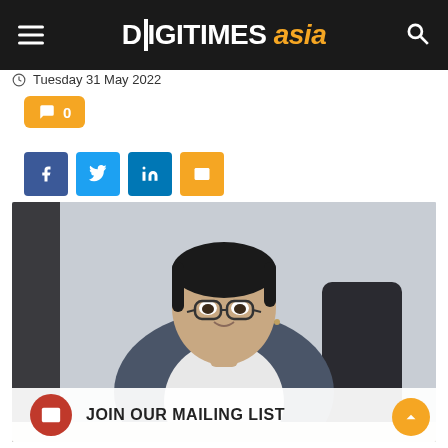DIGITIMES asia
Tuesday 31 May 2022
[Figure (photo): Young Asian man in glasses and a gray blazer sitting at a desk, speaking, with a light gray background]
JOIN OUR MAILING LIST